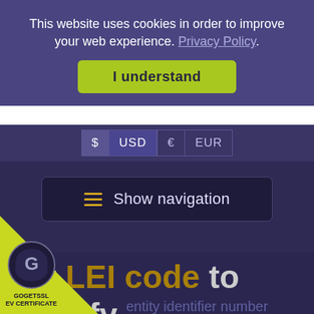This website uses cookies in order to improve your web experience. Privacy Policy
I understand
$ USD € EUR
≡ Show navigation
Get LEI code to Identify Business Globally.
[Figure (logo): GoGetSSL EV Certificate badge - green triangle in bottom left corner with shield icon and text GOGETSSL EV CERTIFICATE]
entity identifier number